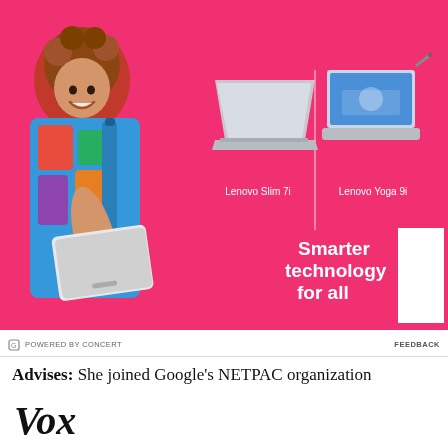[Figure (photo): Lenovo advertisement with pink background showing a smiling woman holding a white laptop, two Lenovo laptop products (Slim 7i and Yoga 9i), 'Smarter technology for all' tagline, and Lenovo logo badge]
POWERED BY CONCERT   FEEDBACK
Advises: She joined Google's NETPAC organization
[Figure (logo): Vox logo in black bold italic serif font]